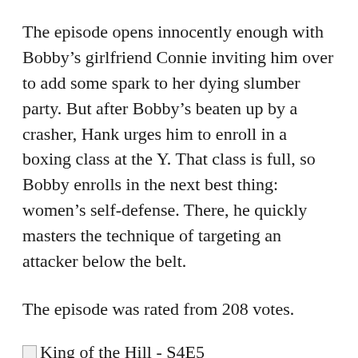The episode opens innocently enough with Bobby's girlfriend Connie inviting him over to add some spark to her dying slumber party. But after Bobby's beaten up by a crasher, Hank urges him to enroll in a boxing class at the Y. That class is full, so Bobby enrolls in the next best thing: women's self-defense. There, he quickly masters the technique of targeting an attacker below the belt.
The episode was rated from 208 votes.
King of the Hill - S4E5
#3 - Aisle 8A